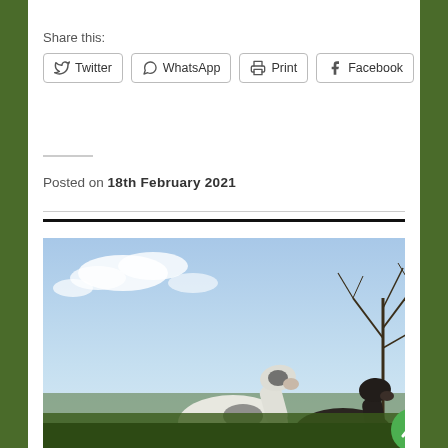Share this:
Twitter | WhatsApp | Print | Facebook
Posted on 18th February 2021
[Figure (photo): Two horses (one white, one dark/black) photographed from below against a blue sky with clouds, with bare tree branches visible on the right side.]